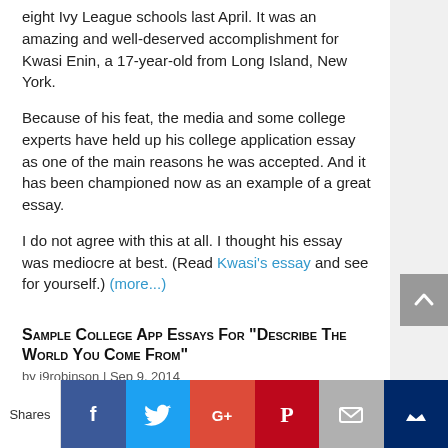eight Ivy League schools last April. It was an amazing and well-deserved accomplishment for Kwasi Enin, a 17-year-old from Long Island, New York.
Because of his feat, the media and some college experts have held up his college application essay as one of the main reasons he was accepted. And it has been championed now as an example of a great essay.
I do not agree with this at all. I thought his essay was mediocre at best. (Read Kwasi's essay and see for yourself.) (more...)
Sample College App Essays for "Describe the World You Come From"
by j9robinson | Sep 9, 2014
UPDATE: as of March 23, 2016 The University of
[Figure (infographic): Social sharing bar with Facebook, Twitter, Google+, Pinterest, Email, and bookmark buttons, plus a Shares label on the left.]